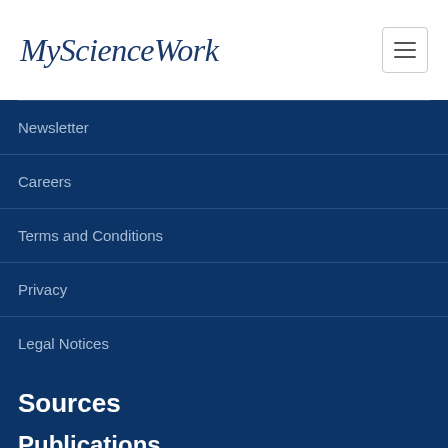MyScienceWork
Newsletter
Careers
Terms and Conditions
Privacy
Legal Notices
Sources
Publications
Open Access Documents